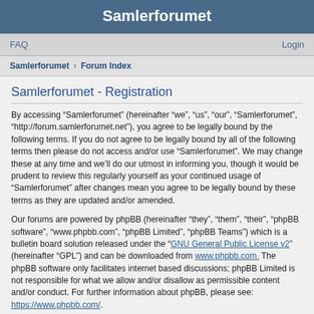Samlerforumet
FAQ  Login
Samlerforumet › Forum Index
Samlerforumet - Registration
By accessing “Samlerforumet” (hereinafter “we”, “us”, “our”, “Samlerforumet”, “http://forum.samlerforumet.net”), you agree to be legally bound by the following terms. If you do not agree to be legally bound by all of the following terms then please do not access and/or use “Samlerforumet”. We may change these at any time and we’ll do our utmost in informing you, though it would be prudent to review this regularly yourself as your continued usage of “Samlerforumet” after changes mean you agree to be legally bound by these terms as they are updated and/or amended.
Our forums are powered by phpBB (hereinafter “they”, “them”, “their”, “phpBB software”, “www.phpbb.com”, “phpBB Limited”, “phpBB Teams”) which is a bulletin board solution released under the “GNU General Public License v2” (hereinafter “GPL”) and can be downloaded from www.phpbb.com. The phpBB software only facilitates internet based discussions; phpBB Limited is not responsible for what we allow and/or disallow as permissible content and/or conduct. For further information about phpBB, please see: https://www.phpbb.com/.